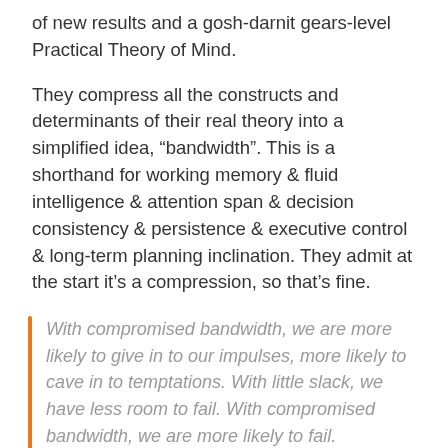of new results and a gosh-darnit gears-level Practical Theory of Mind.
They compress all the constructs and determinants of their real theory into a simplified idea, “bandwidth”. This is a shorthand for working memory & fluid intelligence & attention span & decision consistency & persistence & executive control & long-term planning inclination. They admit at the start it’s a compression, so that’s fine.
With compromised bandwidth, we are more likely to give in to our impulses, more likely to cave in to temptations. With little slack, we have less room to fail. With compromised bandwidth, we are more likely to fail.
Lesson: To optimise your life, you can’t ‘optimise’ too